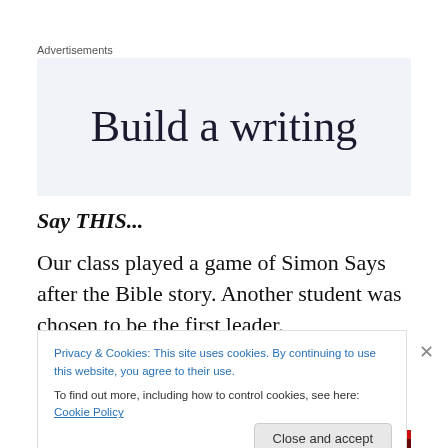Advertisements
[Figure (other): Advertisement banner showing text 'Build a writing' on a light blue-grey background]
Say THIS...
Our class played a game of Simon Says after the Bible story. Another student was chosen to be the first leader.
Privacy & Cookies: This site uses cookies. By continuing to use this website, you agree to their use.
To find out more, including how to control cookies, see here: Cookie Policy
Close and accept